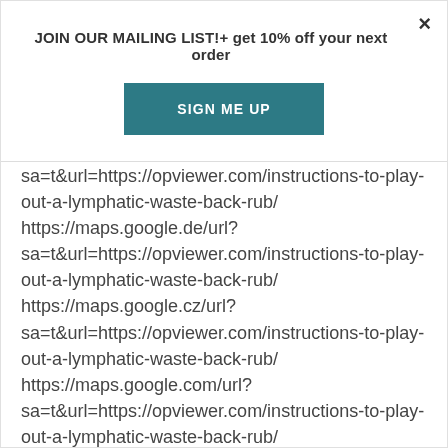×
JOIN OUR MAILING LIST!+ get 10% off your next order
[Figure (other): SIGN ME UP button — teal/dark cyan rectangle with white bold text]
sa=t&url=https://opviewer.com/instructions-to-play-out-a-lymphatic-waste-back-rub/ https://maps.google.de/url?sa=t&url=https://opviewer.com/instructions-to-play-out-a-lymphatic-waste-back-rub/ https://maps.google.cz/url?sa=t&url=https://opviewer.com/instructions-to-play-out-a-lymphatic-waste-back-rub/ https://maps.google.com/url?sa=t&url=https://opviewer.com/instructions-to-play-out-a-lymphatic-waste-back-rub/ https://maps.google.com.uy/url?